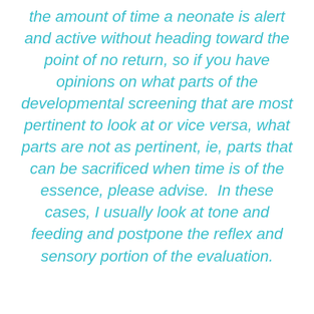the amount of time a neonate is alert and active without heading toward the point of no return, so if you have opinions on what parts of the developmental screening that are most pertinent to look at or vice versa, what parts are not as pertinent, ie, parts that can be sacrificed when time is of the essence, please advise. In these cases, I usually look at tone and feeding and postpone the reflex and sensory portion of the evaluation.